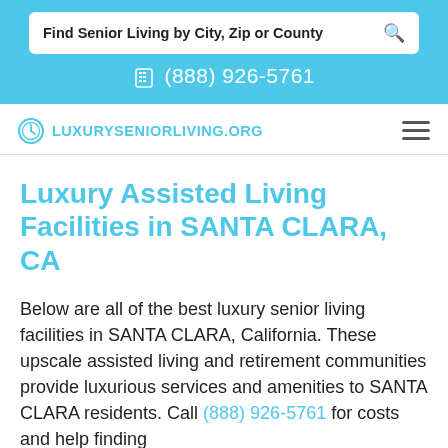Find Senior Living by City, Zip or County
(888) 926-5761
[Figure (logo): LuxurySeniorLiving.org logo with clock icon]
Luxury Assisted Living Facilities in SANTA CLARA, CA
Below are all of the best luxury senior living facilities in SANTA CLARA, California. These upscale assisted living and retirement communities provide luxurious services and amenities to SANTA CLARA residents. Call (888) 926-5761 for costs and help finding